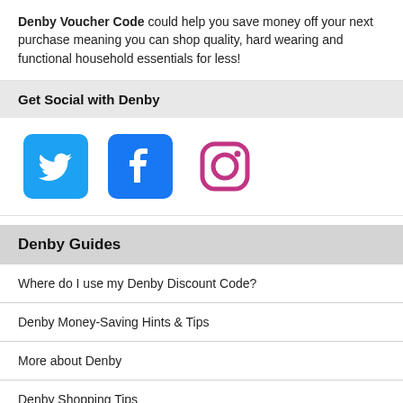Denby Voucher Code could help you save money off your next purchase meaning you can shop quality, hard wearing and functional household essentials for less!
Get Social with Denby
[Figure (logo): Three social media icons: Twitter (blue bird), Facebook (blue F), Instagram (pink/red camera outline)]
Denby Guides
Where do I use my Denby Discount Code?
Denby Money-Saving Hints & Tips
More about Denby
Denby Shopping Tips
Denby FAQs